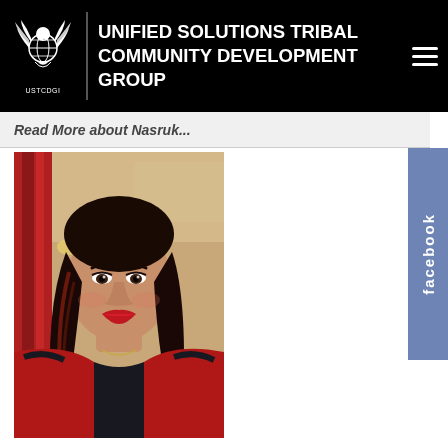UNIFIED SOLUTIONS TRIBAL COMMUNITY DEVELOPMENT GROUP
Read More about Nasruk...
[Figure (photo): Portrait photo of a young woman with long dark hair highlighted with red/auburn tones, wearing red lipstick and a red and black striped top, selfie style indoors]
[Figure (logo): Facebook vertical tab widget on right edge of page]